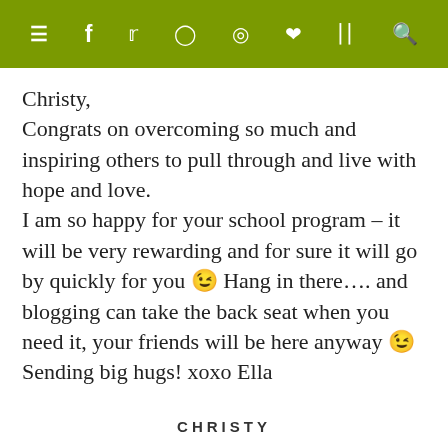≡  f  🐦  📷  🅿  ♥  )))  🔍
Christy,
Congrats on overcoming so much and inspiring others to pull through and live with hope and love.
I am so happy for your school program – it will be very rewarding and for sure it will go by quickly for you 😉 Hang in there…. and blogging can take the back seat when you need it, your friends will be here anyway 😉
Sending big hugs! xoxo Ella
CHRISTY